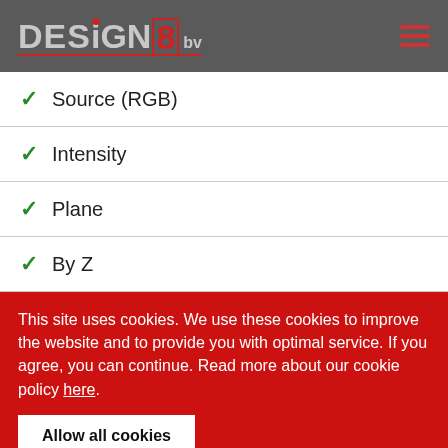DESIGN8 bv
Source (RGB)
Intensity
Plane
By Z
This site uses cookies. We use these cookies to improve the website and to provide you with optimal service. If you agree, you can continue. Read more about our cookie policy here.
Allow all cookies